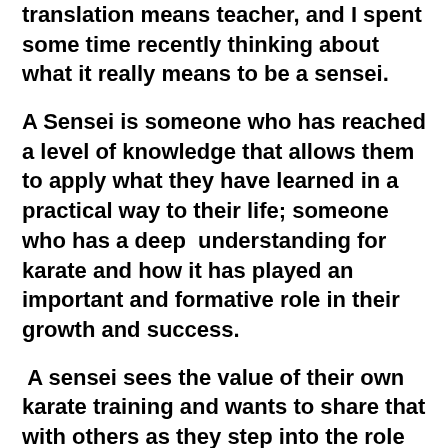The word 'sensei' in its simplest translation means teacher, and I spent some time recently thinking about what it really means to be a sensei.
A Sensei is someone who has reached a level of knowledge that allows them to apply what they have learned in a practical way to their life; someone who has a deep understanding for karate and how it has played an important and formative role in their growth and success.
A sensei sees the value of their own karate training and wants to share that with others as they step into the role of accepting the responsibility that comes with leadership by example. They